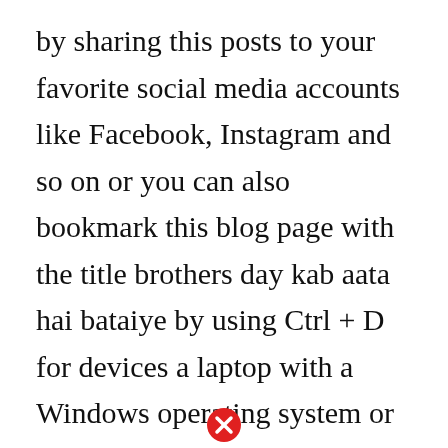by sharing this posts to your favorite social media accounts like Facebook, Instagram and so on or you can also bookmark this blog page with the title brothers day kab aata hai bataiye by using Ctrl + D for devices a laptop with a Windows operating system or Command + D for laptops with an Apple operating system. If you use a smartphone, you can also use the drawer menu of the browser you are using. Whether it's a Windows, Mac, iOS or Android operating system, you will still be
[Figure (illustration): Red circle with white X close button icon at bottom center of page]